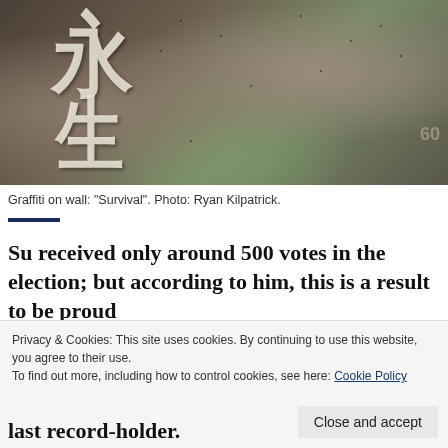[Figure (photo): Graffiti on a dark, textured wall showing Chinese characters painted in white/light color. The characters appear to mean 'Survival'. The wall has a mottled, aged appearance with various stains and marks.]
Graffiti on wall: "Survival". Photo: Ryan Kilpatrick.
Su received only around 500 votes in the election; but according to him, this is a result to be proud of… [text continues below cookie bar] …last record-holder.